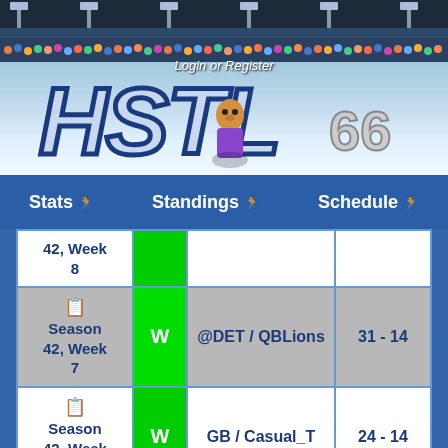[Figure (screenshot): HSTL 66 sports game website banner with stadium/crowd background, Login or Register link, and HSTL 66 logo]
Login or Register
HSTL 66
| Week | Result | Opponent | Score |
| --- | --- | --- | --- |
| Season 42, Week 8 | W |  |  |
| Season 42, Week 7 | W | @DET / QBLions | 31 - 14 |
| Season 42, Week 6 | W | GB / Casual_T | 24 - 14 |
Stats
Standings
Schedule